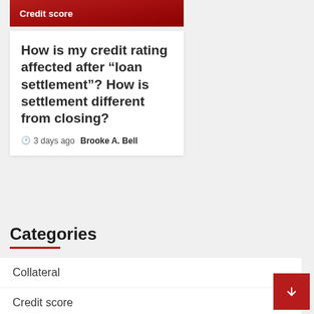Credit score
How is my credit rating affected after “loan settlement”? How is settlement different from closing?
3 days ago  Brooke A. Bell
Categories
Collateral
Credit score
Debt
Debtor